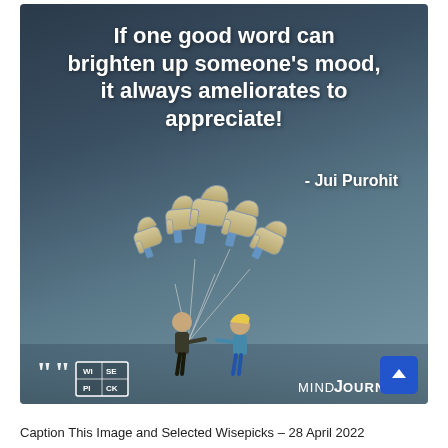[Figure (illustration): Motivational quote image with dark blue-grey gradient background. Large white bold text reads: 'If one good word can brighten up someone's mood, it always ameliorates to appreciate!' attributed to '- Jui Purohit'. Below the text is an illustration of two children, one handing Facebook-like thumbs-up balloon icons to the other. Bottom left shows the Wisepick logo (quotation marks with a 4-cell grid showing WI/SE/PI/CK). Bottom right shows 'MIND JOURNAL' branding. A blue upward-arrow button is in the bottom-right corner.]
Caption This Image and Selected Wisepicks – 28 April 2022